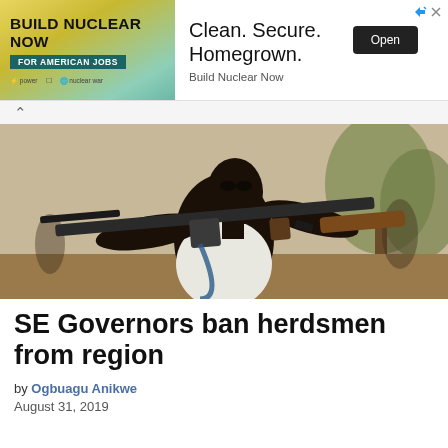[Figure (other): Advertisement banner: 'BUILD NUCLEAR NOW FOR AMERICAN JOBS' with tagline 'Clean. Secure. Homegrown.' and Open button]
[Figure (photo): A person holding a rifle (AK-style) over their shoulder, outdoors in an African setting]
SE Governors ban herdsmen from region
by Ogbuagu Anikwe
August 31, 2019